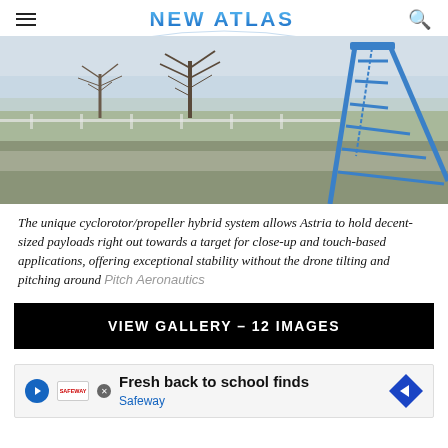NEW ATLAS
[Figure (photo): Outdoor winter scene showing a blue ladder standing in a field with bare trees and a white fence in the background, grey overcast sky]
The unique cyclorotor/propeller hybrid system allows Astria to hold decent-sized payloads right out towards a target for close-up and touch-based applications, offering exceptional stability without the drone tilting and pitching around  Pitch Aeronautics
VIEW GALLERY - 12 IMAGES
Most                          again                                                         ver,